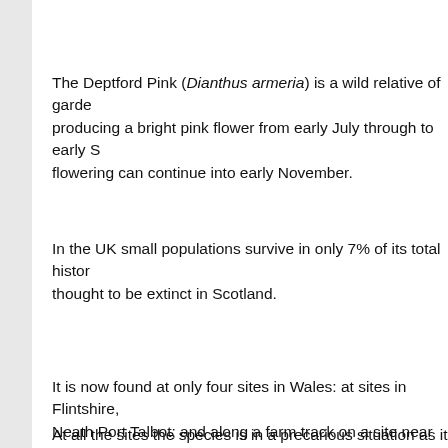The Deptford Pink (Dianthus armeria) is a wild relative of garden pinks, producing a bright pink flower from early July through to early S... flowering can continue into early November.
In the UK small populations survive in only 7% of its total historic range... thought to be extinct in Scotland.
It is now found at only four sites in Wales: at sites in Flintshire, Neath Port Talbot; and along a farm track on a site near Llanel... was found after a member of the Llanelli Naturalists found it gr... in Llanelli but, although surviving into the following year, these p... found again since.
At all the sites the species is in a precarious situation as it relies...